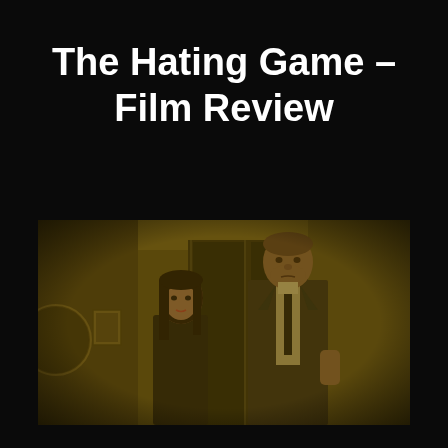The Hating Game – Film Review
[Figure (photo): A sepia/golden-tinted still from the film The Hating Game showing a young woman with dark hair and a tall man in a suit and tie standing in what appears to be an elevator or corridor setting.]